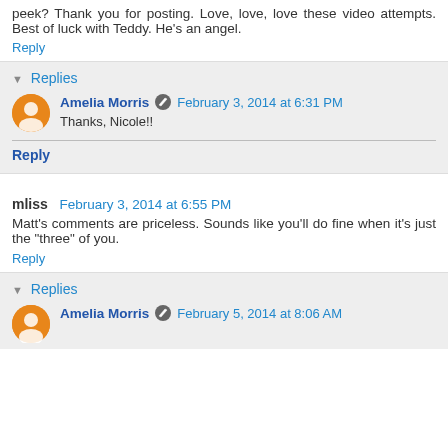peek? Thank you for posting. Love, love, love these video attempts. Best of luck with Teddy. He's an angel.
Reply
Replies
Amelia Morris  February 3, 2014 at 6:31 PM
Thanks, Nicole!!
Reply
mliss  February 3, 2014 at 6:55 PM
Matt's comments are priceless. Sounds like you'll do fine when it's just the "three" of you.
Reply
Replies
Amelia Morris  February 5, 2014 at 8:06 AM